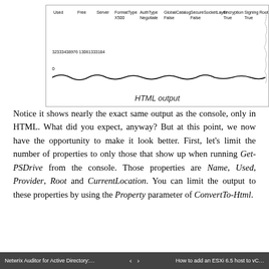[Figure (screenshot): HTML output screenshot showing a table with columns: Used, Free, Server, FormatType, AuthType, GlobalCatalog, SecureSocketLayer, Encryption, Signing, RootWithoutAbs. Row shows values: X500, Negotiate, False, False, True, True. Below a number: 32333438976 13061333184, and then 0. A wavy line graph runs along the bottom.]
HTML output
Notice it shows nearly the exact same output as the console, only in HTML. What did you expect, anyway? But at this point, we now have the opportunity to make it look better. First, let's limit the number of properties to only those that show up when running Get-PSDrive from the console. Those properties are Name, Used, Provider, Root and CurrentLocation. You can limit the output to these properties by using the Property parameter of ConvertTo-Html.
Netwrix Auditor for Active Directory:… < > How to add an ESXi 6.5 host to vC…